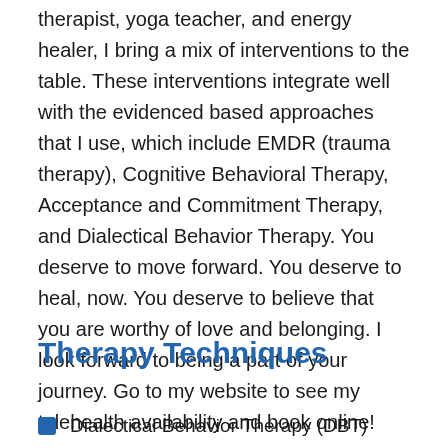therapist, yoga teacher, and energy healer, I bring a mix of interventions to the table. These interventions integrate well with the evidenced based approaches that I use, which include EMDR (trauma therapy), Cognitive Behavioral Therapy, Acceptance and Commitment Therapy, and Dialectical Behavior Therapy. You deserve to move forward. You deserve to heal, now. You deserve to believe that you are worthy of love and belonging. I look forward to being a part of your journey. Go to my website to see my telehealth availability and book online!
Therapy Techniques
Dialectical Behavior Therapy (DBT)